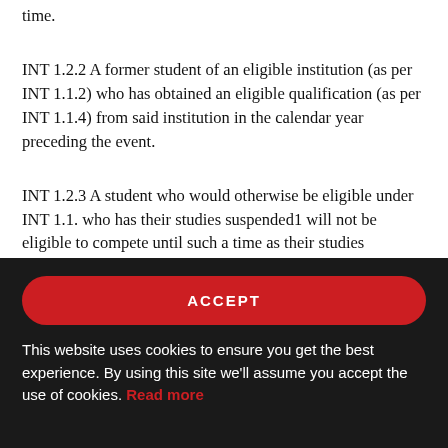time.
INT 1.2.2 A former student of an eligible institution (as per INT 1.1.2) who has obtained an eligible qualification (as per INT 1.1.4) from said institution in the calendar year preceding the event.
INT 1.2.3 A student who would otherwise be eligible under INT 1.1. who has their studies suspended1 will not be eligible to compete until such a time as their studies
ACCEPT
This website uses cookies to ensure you get the best experience. By using this site we'll assume you accept the use of cookies. Read more